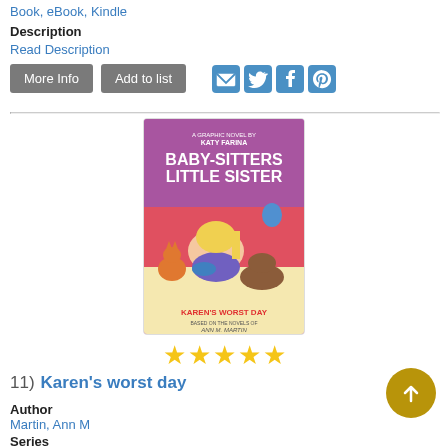Book, eBook, Kindle
Description
Read Description
[Figure (screenshot): More Info and Add to list buttons with social sharing icons (email, Twitter, Facebook, Pinterest)]
[Figure (photo): Book cover: Baby-Sitters Little Sister - Karen's Worst Day, by Katy Farina, based on the novels of Ann M. Martin. Graphic novel style cover with a girl sitting with cats.]
[Figure (other): Five gold star rating]
11)  Karen's worst day
Author
Martin, Ann M
Series
Baby-sitters little sister (Graphic novels) volume 3